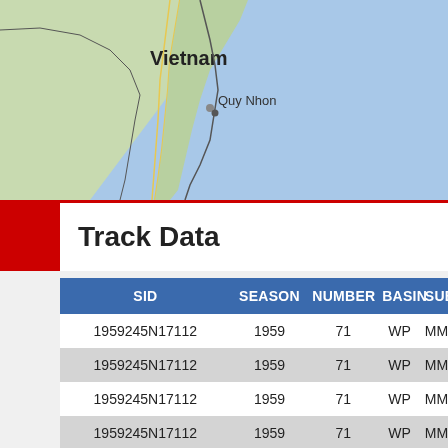[Figure (map): Map showing Vietnam and surrounding South China Sea region. Vietnam is labeled prominently in bold. The city of Quy Nhon is marked on the central coast. The map shows land in green/tan and sea in light blue.]
Track Data
| SID | SEASON | NUMBER | BASIN | SUBB |
| --- | --- | --- | --- | --- |
| 1959245N17112 | 1959 | 71 | WP | MM |
| 1959245N17112 | 1959 | 71 | WP | MM |
| 1959245N17112 | 1959 | 71 | WP | MM |
| 1959245N17112 | 1959 | 71 | WP | MM |
| 1959245N17112 | 1959 | 71 | WP | MM |
| 1959245N17112 | 1959 | 71 | WP | MM |